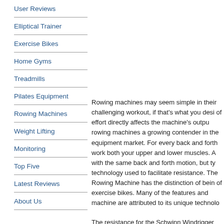User Reviews
Elliptical Trainer
Exercise Bikes
Home Gyms
Treadmills
Pilates Equipment
Rowing Machines
Weight Lifting
Monitoring
Top Five
Latest Reviews
About Us
Rowing machines may seem simple in their challenging workout, if that's what you desi of effort directly affects the machine's outpu rowing machines a growing contender in the equipment market. For every back and forth work both your upper and lower muscles. A with the same back and forth motion, but ty technology used to facilitate resistance. The Rowing Machine has the distinction of bein of exercise bikes. Many of the features and machine are attributed to its unique technolo
The resistance for the Schwinn Windrigger from the company's patented "fan wheel" te was borrowed from the Schwinn exercise bi technology relies on a fan that adjusts the ro and the amount of cool air distributed to you and move your body. You are in complete co workout. In addition to working harder on th vary your workout on the Schwinn Windri